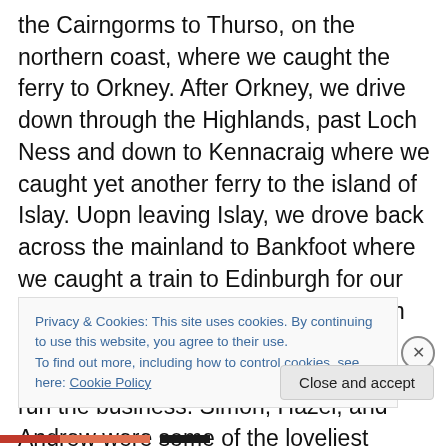the Cairngorms to Thurso, on the northern coast, where we caught the ferry to Orkney. After Orkney, we drive down through the Highlands, past Loch Ness and down to Kennacraig where we caught yet another ferry to the island of Islay. Uopn leaving Islay, we drove back across the mainland to Bankfoot where we caught a train to Edinburgh for our last few days. It was magical. The van was absolutely perfect, and I cannot speak highly enough of the folks who run the business. Simon, Hazel, and Andrew were some of the loveliest people we've ever met, and I want to be their friend forever! (Plus there was a cat
Privacy & Cookies: This site uses cookies. By continuing to use this website, you agree to their use.
To find out more, including how to control cookies, see here: Cookie Policy
Close and accept